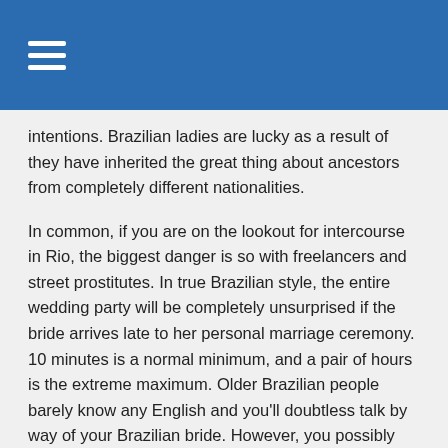intentions. Brazilian ladies are lucky as a result of they have inherited the great thing about ancestors from completely different nationalities.
In common, if you are on the lookout for intercourse in Rio, the biggest danger is so with freelancers and street prostitutes. In true Brazilian style, the entire wedding party will be completely unsurprised if the bride arrives late to her personal marriage ceremony. 10 minutes is a normal minimum, and a pair of hours is the extreme maximum. Older Brazilian people barely know any English and you'll doubtless talk by way of your Brazilian bride. However, you possibly can simply impress them by learning a number of phrases in Portuguese and utilizing them in the proper situations.